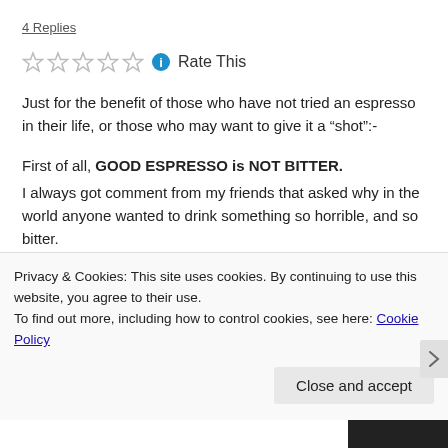4 Replies
[Figure (other): Five empty star rating icons followed by a blue info icon and 'Rate This' text]
Just for the benefit of those who have not tried an espresso in their life, or those who may want to give it a “shot”:-
First of all, GOOD ESPRESSO is NOT BITTER. I always got comment from my friends that asked why in the world anyone wanted to drink something so horrible, and so bitter.
Well, good espresso is not very bitter. It does activate a little
Privacy & Cookies: This site uses cookies. By continuing to use this website, you agree to their use.
To find out more, including how to control cookies, see here: Cookie Policy
Close and accept